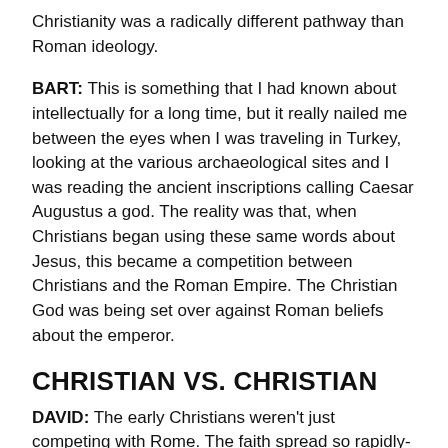Christianity was a radically different pathway than Roman ideology.
BART: This is something that I had known about intellectually for a long time, but it really nailed me between the eyes when I was traveling in Turkey, looking at the various archaeological sites and I was reading the ancient inscriptions calling Caesar Augustus a god. The reality was that, when Christians began using these same words about Jesus, this became a competition between Christians and the Roman Empire. The Christian God was being set over against Roman beliefs about the emperor.
CHRISTIAN VS. CHRISTIAN
DAVID: The early Christians weren't just competing with Rome. The faith spread so rapidly-and took on so many different forms-that Christians were competing among themselves in describing Jesus's divinity. You write about this dramatic push and pull. Early Christian leaders